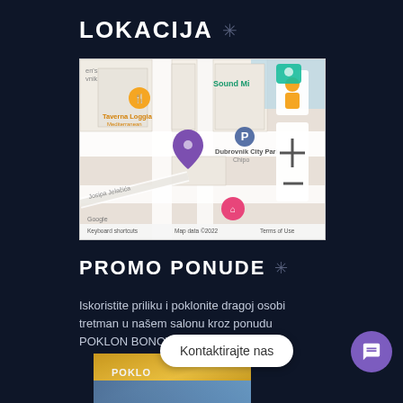LOKACIJA ❄
[Figure (map): Google Maps screenshot showing location in Dubrovnik near Taverna Loggia Mediterranean, Dubrovnik City Park, Chipotle area, with a purple location pin, parking icon, street view figure, zoom controls (+/-), and map attribution: Keyboard shortcuts | Map data ©2022 | Terms of Use]
PROMO PONUDE ❄
Iskoristite priliku i poklonite dragoj osobi tretman u našem salonu kroz ponudu POKLON BONOVA
[Figure (photo): Partial image of a Poklon (gift) card/voucher with golden and blue coloring, partially visible at bottom of page]
Kontaktirajte nas